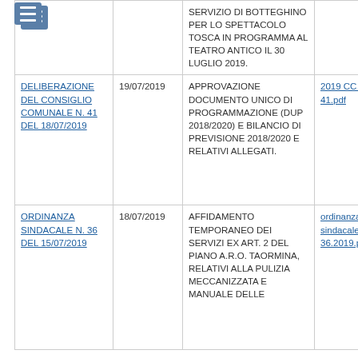| Documento | Data | Oggetto | Allegato |
| --- | --- | --- | --- |
|  |  | SERVIZIO DI BOTTEGHINO PER LO SPETTACOLO TOSCA IN PROGRAMMA AL TEATRO ANTICO IL 30 LUGLIO 2019. |  |
| DELIBERAZIONE DEL CONSIGLIO COMUNALE N. 41 DEL 18/07/2019 | 19/07/2019 | APPROVAZIONE DOCUMENTO UNICO DI PROGRAMMAZIONE (DUP 2018/2020) E BILANCIO DI PREVISIONE 2018/2020 E RELATIVI ALLEGATI. | 2019 CC Del n. 41.pdf |
| ORDINANZA SINDACALE N. 36 DEL 15/07/2019 | 18/07/2019 | AFFIDAMENTO TEMPORANEO DEI SERVIZI EX ART. 2 DEL PIANO A.R.O. TAORMINA, RELATIVI ALLA PULIZIA MECCANIZZATA E MANUALE DELLE | ordinanza sindacale n. 36.2019.pdf |